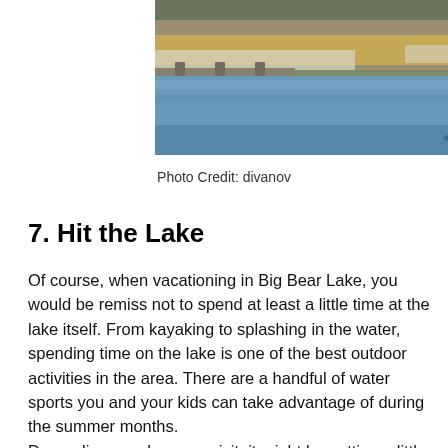[Figure (photo): Winter lake scene with snow, rocks, dried grasses, and a partially frozen lake with blue water]
Photo Credit: divanov
7. Hit the Lake
Of course, when vacationing in Big Bear Lake, you would be remiss not to spend at least a little time at the lake itself. From kayaking to splashing in the water, spending time on the lake is one of the best outdoor activities in the area. There are a handful of water sports you and your kids can take advantage of during the summer months.
Depending on when you visit, it might be getting a little cold for swimming but you can still book a boat tour, or charter your own pontoon boat and cruise around the